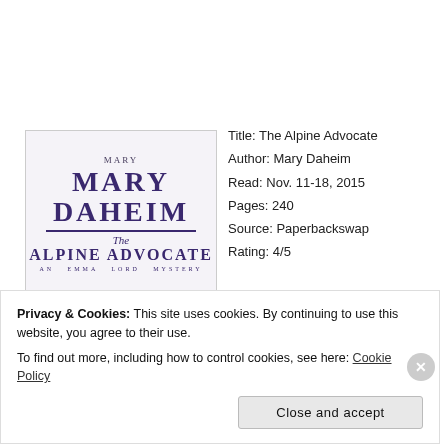[Figure (illustration): Book cover for The Alpine Advocate by Mary Daheim. Purple/navy bold text on light background with author name MARY DAHEIM and title THE ALPINE ADVOCATE, AN EMMA LORD MYSTERY.]
Title: The Alpine Advocate
Author: Mary Daheim
Read: Nov. 11-18, 2015
Pages: 240
Source: Paperbackswap
Rating: 4/5
Privacy & Cookies: This site uses cookies. By continuing to use this website, you agree to their use.
To find out more, including how to control cookies, see here: Cookie Policy
Close and accept